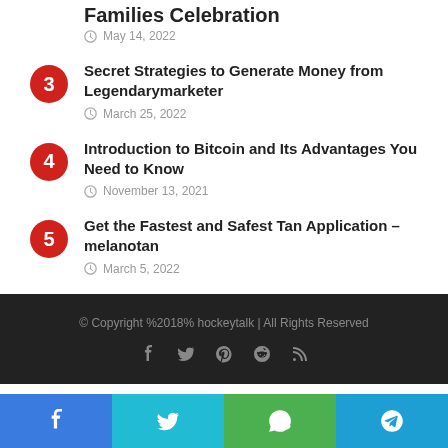Families Celebration
May 14, 2022
3 Secret Strategies to Generate Money from Legendarymarketer
March 25, 2022
4 Introduction to Bitcoin and Its Advantages You Need to Know
November 13, 2021
5 Get the Fastest and Safest Tan Application – melanotan
March 5, 2022
© Copyright %2018% hockeytalk | All Rights Reserved